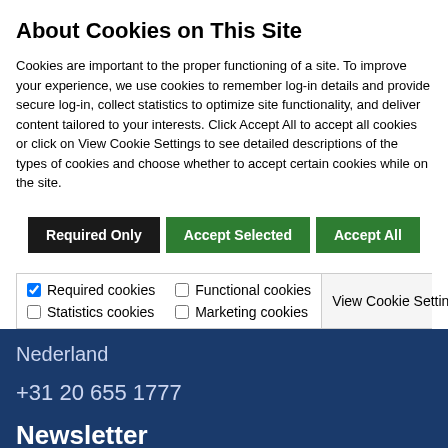About Cookies on This Site
Cookies are important to the proper functioning of a site. To improve your experience, we use cookies to remember log-in details and provide secure log-in, collect statistics to optimize site functionality, and deliver content tailored to your interests. Click Accept All to accept all cookies or click on View Cookie Settings to see detailed descriptions of the types of cookies and choose whether to accept certain cookies while on the site.
Required Only | Accept Selected | Accept All
| ✓ Required cookies | Functional cookies | View Cookie Settings |
| Statistics cookies | Marketing cookies |  |
Nederland
+31 20 655 1777
Newsletter
E-mailadres
Uw e-mailadres